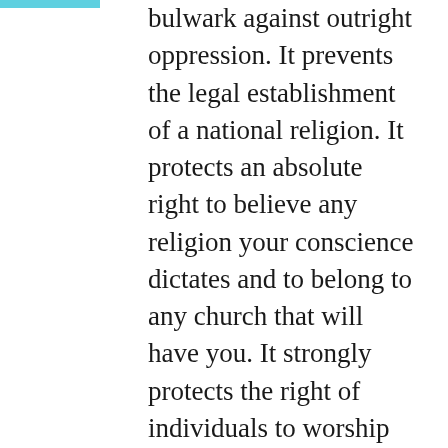bulwark against outright oppression. It prevents the legal establishment of a national religion. It protects an absolute right to believe any religion your conscience dictates and to belong to any church that will have you. It strongly protects the right of individuals to worship “how, where, or what they may.”³ It protects the right to express religious beliefs in word and writing and to pass your faith on to your children. It protects the right to form a church and to determine its doctrines and establish its membership and leader- ship criteria without interferences from the government. The Constitution bans religious tests for public office, enshrining an ideal that influences